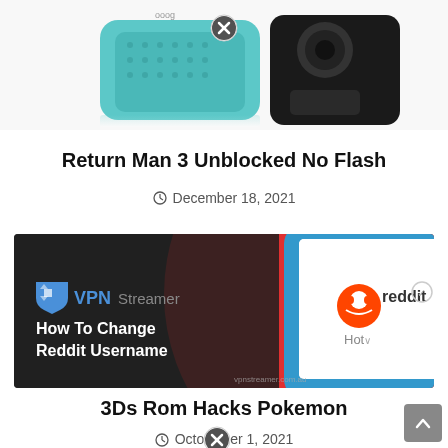[Figure (photo): Partial image of two small electronic devices (a teal/blue Bluetooth speaker and a black camera) on a white background, with a circular close (X) button overlay]
Return Man 3 Unblocked No Flash
December 18, 2021
[Figure (photo): VPN Streamer promotional banner with text 'How To Change Reddit Username', featuring a smartphone displaying the Reddit app interface with orange Reddit logo and Hot section visible]
3Ds Rom Hacks Pokemon
October 1, 2021